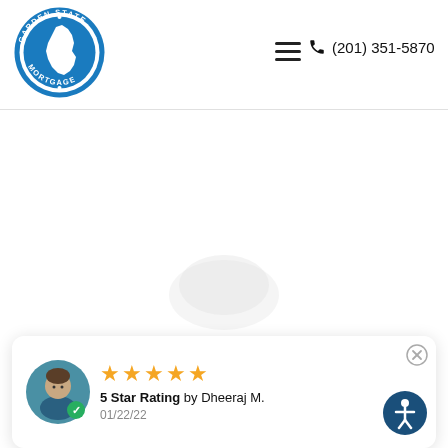[Figure (logo): Garden State Mortgage circular logo with NJ state outline in blue]
(201) 351-5870
5 Star Rating by Dheeraj M. 01/22/22